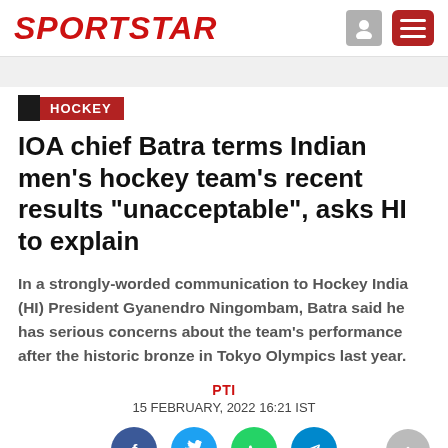SPORTSTAR
HOCKEY
IOA chief Batra terms Indian men's hockey team's recent results "unacceptable", asks HI to explain
In a strongly-worded communication to Hockey India (HI) President Gyanendro Ningombam, Batra said he has serious concerns about the team's performance after the historic bronze in Tokyo Olympics last year.
PTI
15 FEBRUARY, 2022 16:21 IST
[Figure (other): Social media sharing buttons: Facebook, Twitter, WhatsApp, Telegram]